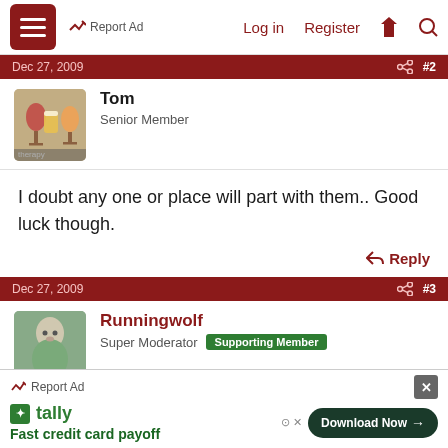Report Ad  Log in  Register
Dec 27, 2009  #2
Tom
Senior Member
I doubt any one or place will part with them.. Good luck though.
Reply
Dec 27, 2009  #3
Runningwolf
Super Moderator  Supporting Member
Wray said:
Report Ad  Fast credit card payoff  Download Now